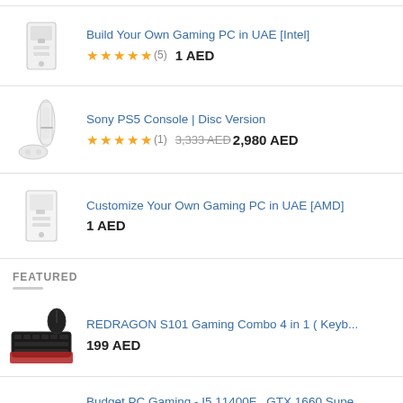Build Your Own Gaming PC in UAE [Intel] ★★★★★ (5) 1 AED
Sony PS5 Console | Disc Version ★★★★★ (1) 3,333 AED 2,980 AED
Customize Your Own Gaming PC in UAE [AMD] 1 AED
FEATURED
REDRAGON S101 Gaming Combo 4 in 1 ( Keyb... 199 AED
Budget PC Gaming - I5 11400F , GTX 1660 Supe...